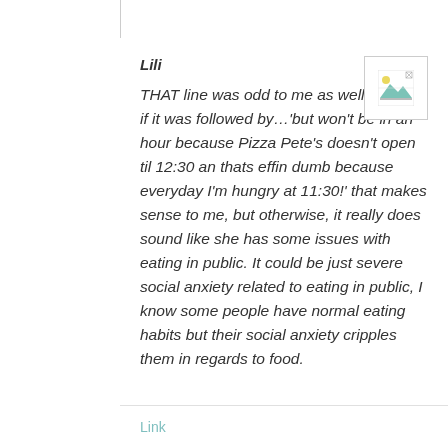Lili
THAT line was odd to me as well. I mean, if it was followed by...'but won't be in an hour because Pizza Pete's doesn't open til 12:30 an thats effin dumb because everyday I'm hungry at 11:30!' that makes sense to me, but otherwise, it really does sound like she has some issues with eating in public. It could be just severe social anxiety related to eating in public, I know some people have normal eating habits but their social anxiety cripples them in regards to food.
Link